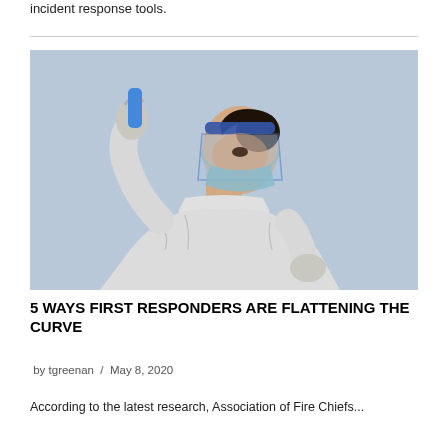incident response tools.
[Figure (photo): A healthcare worker in full PPE (white hazmat suit, blue face shield, latex gloves, and surgical mask) adjusting their face shield against a light blue/grey sky background.]
5 WAYS FIRST RESPONDERS ARE FLATTENING THE CURVE
by tgreenan / May 8, 2020
According to the latest research, Association of Fire Chiefs...